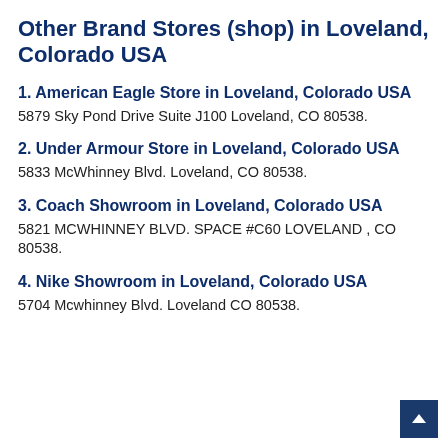Other Brand Stores (shop) in Loveland, Colorado USA
1. American Eagle Store in Loveland, Colorado USA
5879 Sky Pond Drive Suite J100 Loveland, CO 80538.
2. Under Armour Store in Loveland, Colorado USA
5833 McWhinney Blvd. Loveland, CO 80538.
3. Coach Showroom in Loveland, Colorado USA
5821 MCWHINNEY BLVD. SPACE #C60 LOVELAND , CO 80538.
4. Nike Showroom in Loveland, Colorado USA
5704 Mcwhinney Blvd. Loveland CO 80538.